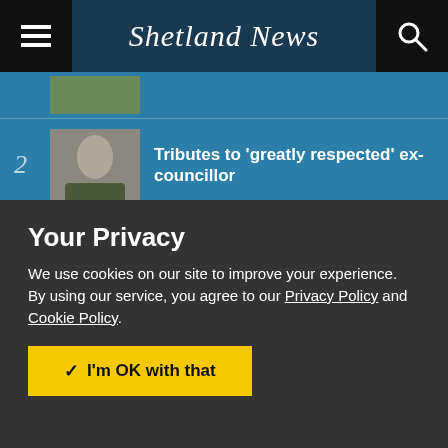Shetland News
1 [partial article thumbnail]
2 Tributes to 'greatly respected' ex-councillor
3 Woman fined after row over land access
4 West councillor to step down
Your Privacy
We use cookies on our site to improve your experience.
By using our service, you agree to our Privacy Policy and Cookie Policy.
I'm OK with that